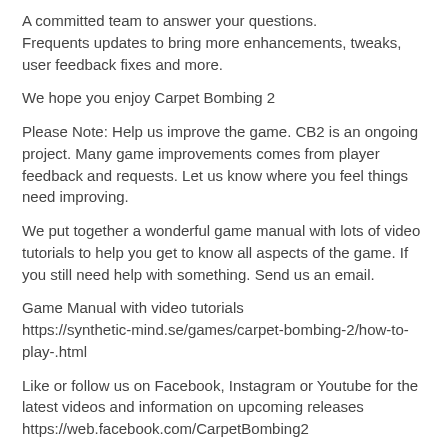A committed team to answer your questions. Frequents updates to bring more enhancements, tweaks, user feedback fixes and more.
We hope you enjoy Carpet Bombing 2
Please Note: Help us improve the game. CB2 is an ongoing project. Many game improvements comes from player feedback and requests. Let us know where you feel things need improving.
We put together a wonderful game manual with lots of video tutorials to help you get to know all aspects of the game. If you still need help with something. Send us an email.
Game Manual with video tutorials https://synthetic-mind.se/games/carpet-bombing-2/how-to-play-.html
Like or follow us on Facebook, Instagram or Youtube for the latest videos and information on upcoming releases https://web.facebook.com/CarpetBombing2
https://www.instagram.com/carpet_bombing_games
https://www.youtube.com/channel/UC7dAcFURYcbw7h776m2...